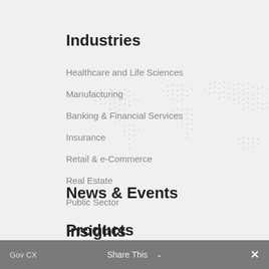Industries
Healthcare and Life Sciences
Manufacturing
Banking & Financial Services
Insurance
Retail & e-Commerce
Real Estate
Public Sector
Insights
News & Events
Products
Gov CX    Share This    ✕